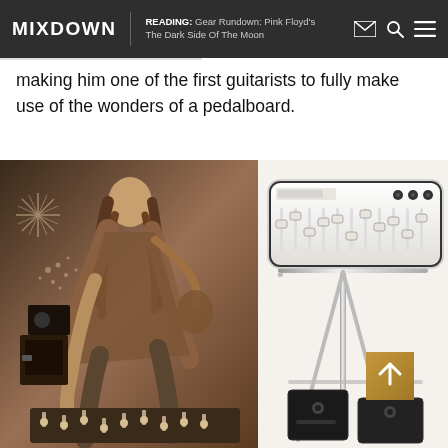MIXDOWN | READING: Gear Rundown: Pink Floyd's The Dark Side Of The Moon
making him one of the first guitarists to fully make use of the wonders of a pedalboard.
[Figure (photo): Sepia-toned photo of a long-haired musician (David Gilmour) leaning over and adjusting knobs on a pedalboard/mixing console, wearing a t-shirt and jeans, with amplifiers and a decorative starburst backdrop in the background.]
[Figure (photo): Color photo of a white electronic effects unit/pedal controller with multiple sliders and knobs on a chrome stand, with dark pedal units visible below.]